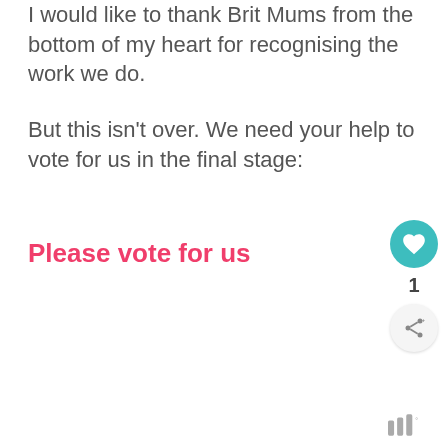I would like to thank Brit Mums from the bottom of my heart for recognising the work we do.
But this isn't over. We need your help to vote for us in the final stage:
Please vote for us
[Figure (other): Teal circular heart (like) button with count of 1 below it, and a share button below that]
[Figure (logo): Small logo icon at bottom right]